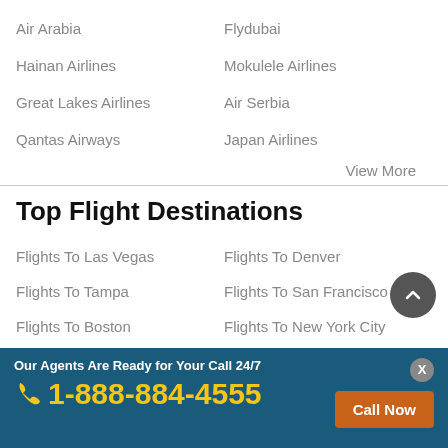Air Arabia
Flydubai
Hainan Airlines
Mokulele Airlines
Great Lakes Airlines
Air Serbia
Qantas Airways
Japan Airlines
View More
Top Flight Destinations
Flights To Las Vegas
Flights To Denver
Flights To Tampa
Flights To San Francisco
Flights To Boston
Flights To New York City
Flights To San Diego
Flights To Houston
Flights To Chicago
Flights To Minneapolis
Flights To Charlotte
Flights To Cleveland
Our Agents Are Ready for Your Call 24/7
1-888-884-4555
Call Now